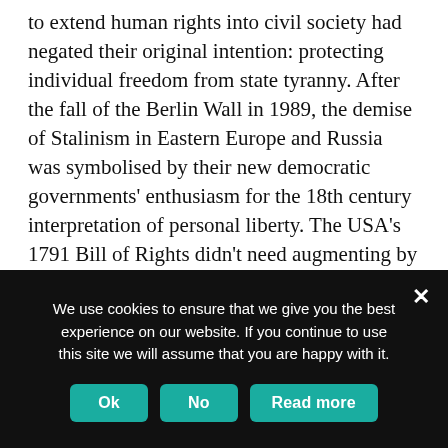to extend human rights into civil society had negated their original intention: protecting individual freedom from state tyranny. After the fall of the Berlin Wall in 1989, the demise of Stalinism in Eastern Europe and Russia was symbolised by their new democratic governments' enthusiasm for the 18th century interpretation of personal liberty. The USA's 1791 Bill of Rights didn't need augmenting by the UN's 1966 International Covenant on Economic, Social and Cultural Rights. On the contrary, political and civil freedom from state interference was the only possible form of freedom in the post-modern world. Liberalism and democracy were synonymous.
We use cookies to ensure that we give you the best experience on our website. If you continue to use this site we will assume that you are happy with it.